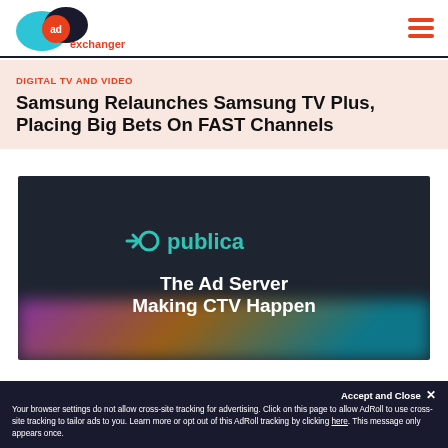AdExchanger logo and navigation
DIGITAL TV AND VIDEO
Samsung Relaunches Samsung TV Plus, Placing Big Bets On FAST Channels
[Figure (illustration): Publica ad server promotional image on dark background with teal Publica logo and white text reading 'The Ad Server Making CTV Happen']
Accept and Close ✕
Your browser settings do not allow cross-site tracking for advertising. Click on this page to allow AdRoll to use cross-site tracking to tailor ads to you. Learn more or opt out of this AdRoll tracking by clicking here. This message only appears once.